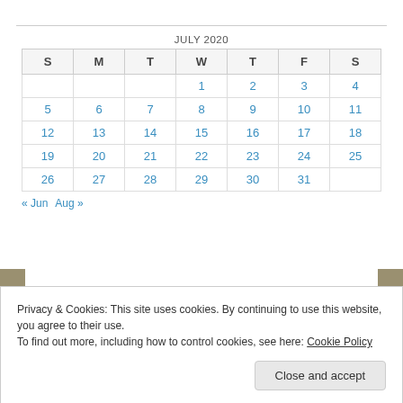JULY 2020
| S | M | T | W | T | F | S |
| --- | --- | --- | --- | --- | --- | --- |
|  |  |  | 1 | 2 | 3 | 4 |
| 5 | 6 | 7 | 8 | 9 | 10 | 11 |
| 12 | 13 | 14 | 15 | 16 | 17 | 18 |
| 19 | 20 | 21 | 22 | 23 | 24 | 25 |
| 26 | 27 | 28 | 29 | 30 | 31 |  |
« Jun   Aug »
Privacy & Cookies: This site uses cookies. By continuing to use this website, you agree to their use.
To find out more, including how to control cookies, see here: Cookie Policy
Close and accept